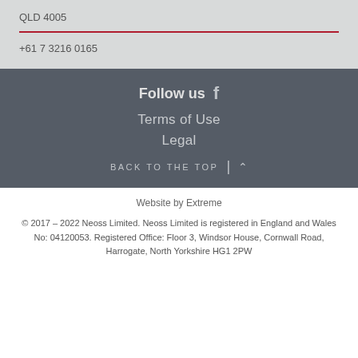QLD 4005
+61 7 3216 0165
Follow us
Terms of Use
Legal
BACK TO THE TOP
Website by Extreme
© 2017 – 2022 Neoss Limited. Neoss Limited is registered in England and Wales No: 04120053. Registered Office: Floor 3, Windsor House, Cornwall Road, Harrogate, North Yorkshire HG1 2PW